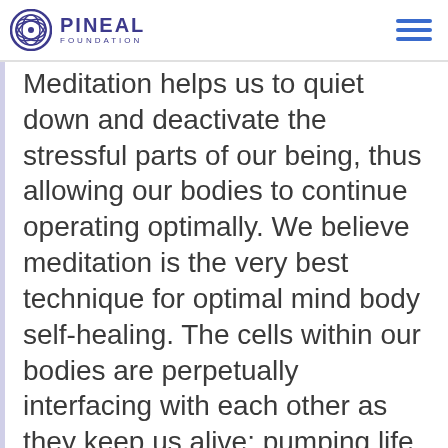PINEAL FOUNDATION
Meditation helps us to quiet down and deactivate the stressful parts of our being, thus allowing our bodies to continue operating optimally. We believe meditation is the very best technique for optimal mind body self-healing. The cells within our bodies are perpetually interfacing with each other as they keep us alive: pumping life sustaining blood and getting rid of harmful toxins while defending against external pathogens.